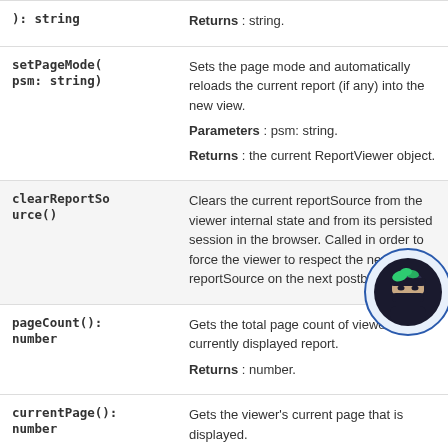| Method | Description |
| --- | --- |
| ): string | Returns : string. |
| setPageMode(psm: string) | Sets the page mode and automatically reloads the current report (if any) into the new view.
Parameters : psm: string.
Returns : the current ReportViewer object. |
| clearReportSource() | Clears the current reportSource from the viewer internal state and from its persisted session in the browser. Called in order to force the viewer to respect the newly reportSource on the next postback. |
| pageCount(): number | Gets the total page count of viewer's currently displayed report.
Returns : number. |
| currentPage(): number | Gets the viewer's current page that is displayed.
Returns : number. |